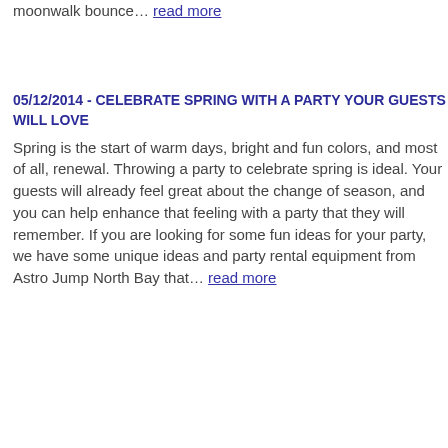We have a variety of moon bounces and moonwalk bounce… read more
05/12/2014 - CELEBRATE SPRING WITH A PARTY YOUR GUESTS WILL LOVE
Spring is the start of warm days, bright and fun colors, and most of all, renewal. Throwing a party to celebrate spring is ideal. Your guests will already feel great about the change of season, and you can help enhance that feeling with a party that they will remember. If you are looking for some fun ideas for your party, we have some unique ideas and party rental equipment from Astro Jump North Bay that… read more